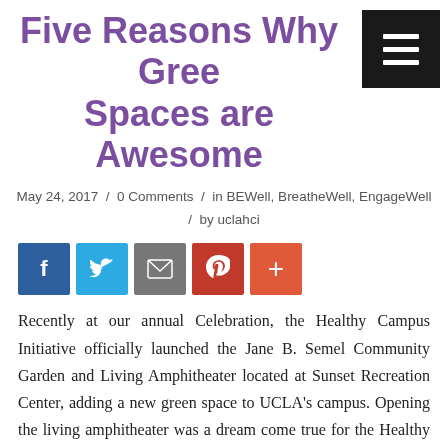Five Reasons Why Green Spaces are Awesome
May 24, 2017 / 0 Comments / in BEWell, BreatheWell, EngageWell / by uclahci
[Figure (other): Social share buttons: Facebook, Twitter, Email, Pinterest, Plus]
Recently at our annual Celebration, the Healthy Campus Initiative officially launched the Jane B. Semel Community Garden and Living Amphitheater located at Sunset Recreation Center, adding a new green space to UCLA's campus. Opening the living amphitheater was a dream come true for the Healthy Campus Initiative, but it is also a valuable addition to UCLA's campus that holds amazing potential. Read on to find out 5 reasons why green spaces like the Living Amphitheater are awesome for our well-being.